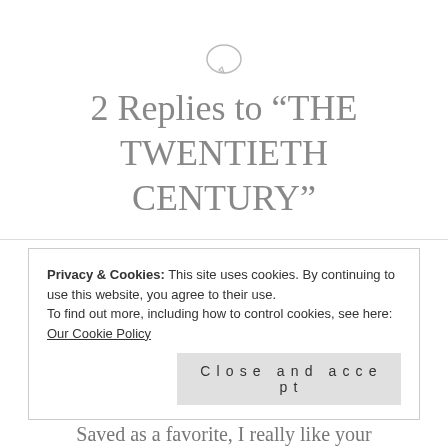2 Replies to “THE TWENTIETH CENTURY”
Pingback: Video Lesson n. 1 – V. Woolf, J. Joyce and the Stream of Consciousness – L. R. CAPUANA
Privacy & Cookies: This site uses cookies. By continuing to use this website, you agree to their use.
To find out more, including how to control cookies, see here: Our Cookie Policy
Close and accept
Saved as a favorite, I really like your